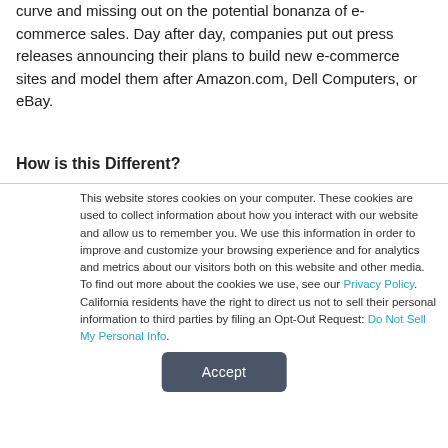curve and missing out on the potential bonanza of e-commerce sales. Day after day, companies put out press releases announcing their plans to build new e-commerce sites and model them after Amazon.com, Dell Computers, or eBay.
How is this Different?
This website stores cookies on your computer. These cookies are used to collect information about how you interact with our website and allow us to remember you. We use this information in order to improve and customize your browsing experience and for analytics and metrics about our visitors both on this website and other media. To find out more about the cookies we use, see our Privacy Policy. California residents have the right to direct us not to sell their personal information to third parties by filing an Opt-Out Request: Do Not Sell My Personal Info.
Accept